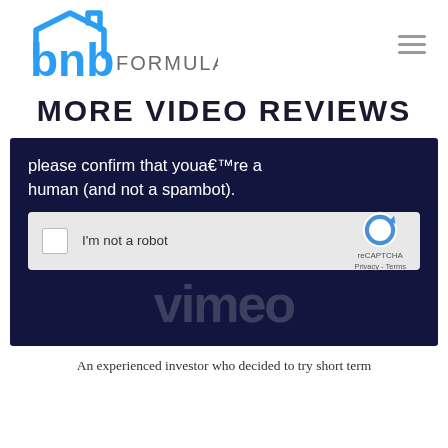[Figure (logo): BNB Formula logo: blue house icon with 'bnb' in blue lowercase letters and 'FORMULA' in gray uppercase letters]
MORE VIDEO REVIEWS
[Figure (screenshot): Dark navy blue video screenshot with a reCAPTCHA verification overlay. Text reads: 'please confirm that youa€™re a human (and not a spambot).' with a reCAPTCHA checkbox widget showing 'I'm not a robot' and Vimeo logo watermark at bottom.]
An experienced investor who decided to try short term